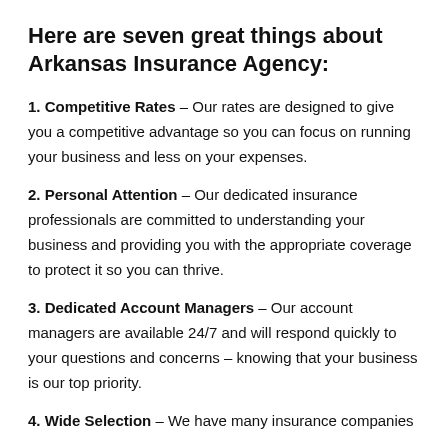Here are seven great things about Arkansas Insurance Agency:
1. Competitive Rates – Our rates are designed to give you a competitive advantage so you can focus on running your business and less on your expenses.
2. Personal Attention – Our dedicated insurance professionals are committed to understanding your business and providing you with the appropriate coverage to protect it so you can thrive.
3. Dedicated Account Managers – Our account managers are available 24/7 and will respond quickly to your questions and concerns – knowing that your business is our top priority.
4. Wide Selection – We have many insurance companies